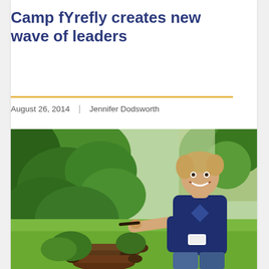Camp fYrefly creates new wave of leaders
August 26, 2014  |  Jennifer Dodsworth
[Figure (photo): A smiling young man in a navy blue t-shirt standing outdoors next to a pile of logs and lush green vegetation, holding a stick or tool, with a grassy background.]